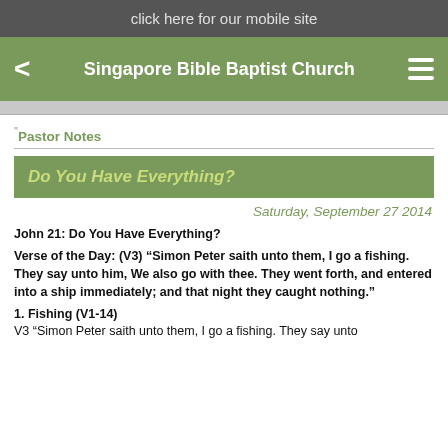click here for our mobile site
Singapore Bible Baptist Church
Pastor Notes
Do You Have Everything?
Saturday, September 27 2014
John 21: Do You Have Everything?
Verse of the Day: (V3) “Simon Peter saith unto them, I go a fishing. They say unto him, We also go with thee. They went forth, and entered into a ship immediately; and that night they caught nothing.”
1. Fishing (V1-14)
V3 “Simon Peter saith unto them, I go a fishing. They say unto